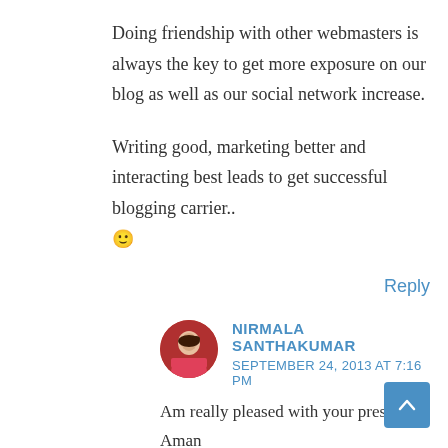Doing friendship with other webmasters is always the key to get more exposure on our blog as well as our social network increase.
Writing good, marketing better and interacting best leads to get successful blogging carrier.. 🙂
Reply
NIRMALA SANTHAKUMAR
SEPTEMBER 24, 2013 AT 7:16 PM
Am really pleased with your presence Aman 🙂